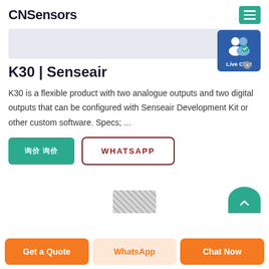CNSensors
[Figure (screenshot): Gray placeholder image bar for product photo]
K30 | Senseair
K30 is a flexible product with two analogue outputs and two digital outputs that can be configured with Senseair Development Kit or other custom software. Specs; ...
[Figure (other): Green teal button with Chinese characters (询价) and WhatsApp outline button]
[Figure (other): Product image area partially visible at bottom with teal circle button]
Get a Quote   WhatsApp   Chat Now